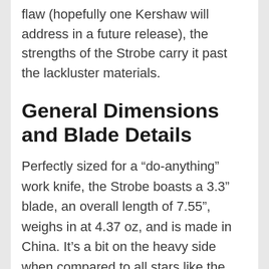flaw (hopefully one Kershaw will address in a future release), the strengths of the Strobe carry it past the lackluster materials.
General Dimensions and Blade Details
Perfectly sized for a “do-anything” work knife, the Strobe boasts a 3.3” blade, an overall length of 7.55”, weighs in at 4.37 oz, and is made in China. It’s a bit on the heavy side when compared to all stars like the Skyline, Mini-Grip, and some of the lightweight options from Spyderco, but in my two months of on-and-off carry the Strobe’s weight hasn’t been a real detriment. The